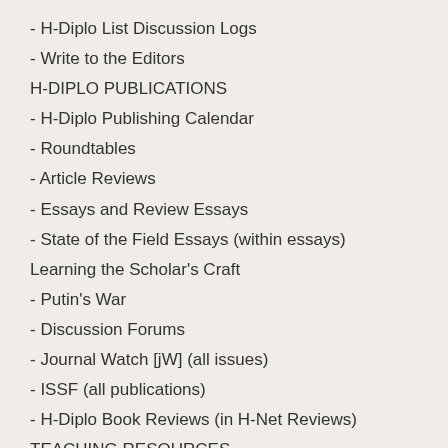- H-Diplo List Discussion Logs
- Write to the Editors
H-DIPLO PUBLICATIONS
- H-Diplo Publishing Calendar
- Roundtables
- Article Reviews
- Essays and Review Essays
- State of the Field Essays (within essays)
Learning the Scholar's Craft
- Putin's War
- Discussion Forums
- Journal Watch [jW] (all issues)
- ISSF (all publications)
- H-Diplo Book Reviews (in H-Net Reviews)
TEACHING RESOURCES
- Teaching Roundtables